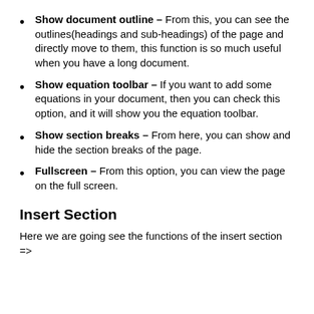Show document outline – From this, you can see the outlines(headings and sub-headings) of the page and directly move to them, this function is so much useful when you have a long document.
Show equation toolbar – If you want to add some equations in your document, then you can check this option, and it will show you the equation toolbar.
Show section breaks – From here, you can show and hide the section breaks of the page.
Fullscreen – From this option, you can view the page on the full screen.
Insert Section
Here we are going see the functions of the insert section =>